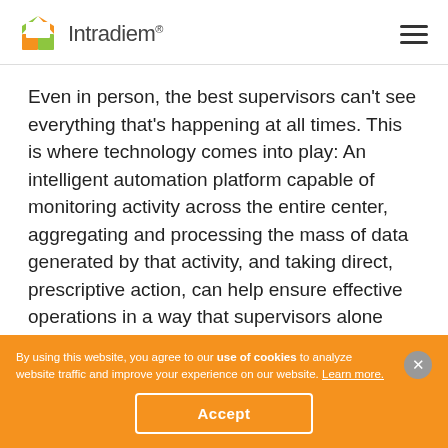Intradiem®
Even in person, the best supervisors can't see everything that's happening at all times. This is where technology comes into play: An intelligent automation platform capable of monitoring activity across the entire center, aggregating and processing the mass of data generated by that activity, and taking direct, prescriptive action, can help ensure effective operations in a way that supervisors alone cannot.
By using this website, you agree to our use of cookies to analyze website traffic and improve your experience on our website. Learn more.